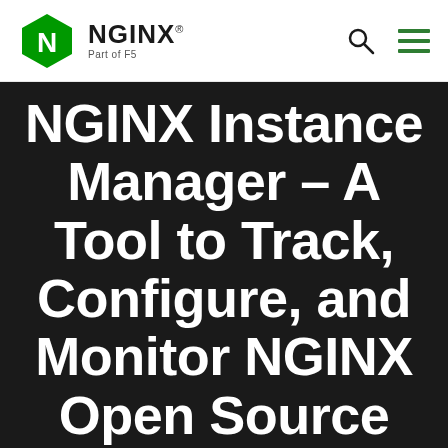NGINX · Part of F5
NGINX Instance Manager – A Tool to Track, Configure, and Monitor NGINX Open Source and NGINX Plus